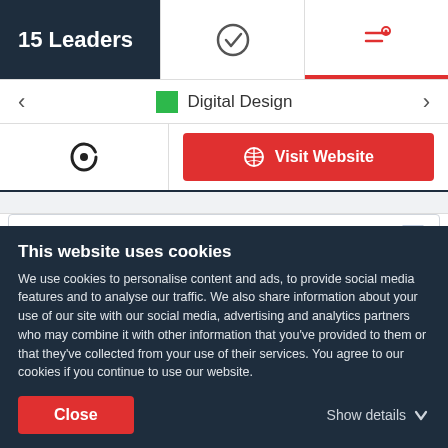15 Leaders
Digital Design
Visit Website
Flying V Group
Obsessed With Growing Your Business
This website uses cookies
We use cookies to personalise content and ads, to provide social media features and to analyse our traffic. We also share information about your use of our site with our social media, advertising and analytics partners who may combine it with other information that you've provided to them or that they've collected from your use of their services. You agree to our cookies if you continue to use our website.
Close
Show details